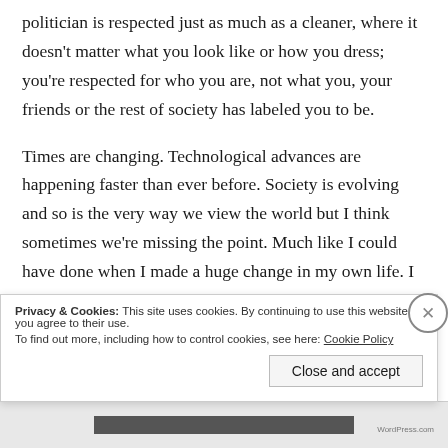politician is respected just as much as a cleaner, where it doesn't matter what you look like or how you dress; you're respected for who you are, not what you, your friends or the rest of society has labeled you to be.
Times are changing. Technological advances are happening faster than ever before. Society is evolving and so is the very way we view the world but I think sometimes we're missing the point. Much like I could have done when I made a huge change in my own life. I think we're choosing to change what's on the
Privacy & Cookies: This site uses cookies. By continuing to use this website, you agree to their use. To find out more, including how to control cookies, see here: Cookie Policy